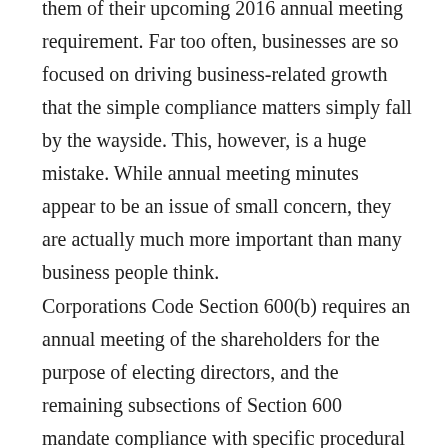them of their upcoming 2016 annual meeting requirement. Far too often, businesses are so focused on driving business-related growth that the simple compliance matters simply fall by the wayside. This, however, is a huge mistake. While annual meeting minutes appear to be an issue of small concern, they are actually much more important than many business people think.
Corporations Code Section 600(b) requires an annual meeting of the shareholders for the purpose of electing directors, and the remaining subsections of Section 600 mandate compliance with specific procedural requirements (e.g., written notice or